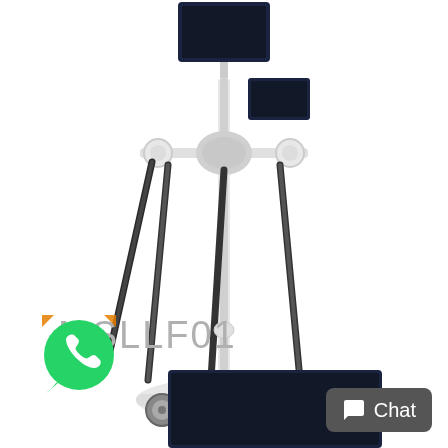[Figure (photo): Medical endoscopy cart/trolley with multiple endoscopes hanging from a white stand with a wheeled base, monitors mounted at top, on white background. Product code MSLLF01 shown in gray text.]
MSLLF01
[Figure (logo): WhatsApp logo - green speech bubble with white phone handset icon, with small orange corner markers]
[Figure (screenshot): Dark navy/black monitor screen partially visible at bottom of page]
Chat